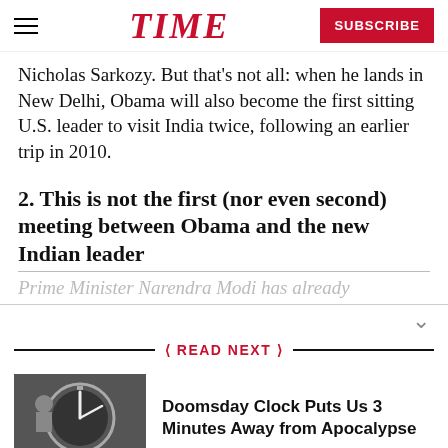TIME | SUBSCRIBE
Nicholas Sarkozy. But that's not all: when he lands in New Delhi, Obama will also become the first sitting U.S. leader to visit India twice, following an earlier trip in 2010.
2. This is not the first (nor even second) meeting between Obama and the new Indian leader
READ NEXT
Doomsday Clock Puts Us 3 Minutes Away from Apocalypse